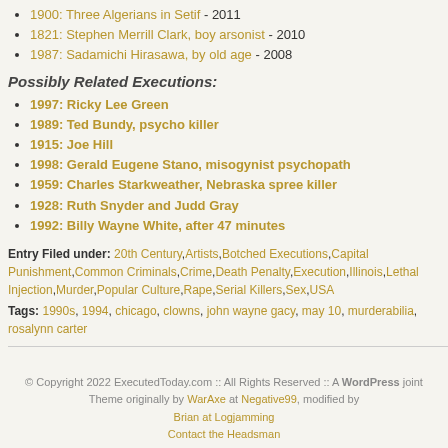1900: Three Algerians in Setif - 2011
1821: Stephen Merrill Clark, boy arsonist - 2010
1987: Sadamichi Hirasawa, by old age - 2008
Possibly Related Executions:
1997: Ricky Lee Green
1989: Ted Bundy, psycho killer
1915: Joe Hill
1998: Gerald Eugene Stano, misogynist psychopath
1959: Charles Starkweather, Nebraska spree killer
1928: Ruth Snyder and Judd Gray
1992: Billy Wayne White, after 47 minutes
Entry Filed under: 20th Century,Artists,Botched Executions,Capital Punishment,Common Criminals,Crime,Death Penalty,Execution,Illinois,Lethal Injection,Murder,Popular Culture,Rape,Serial Killers,Sex,USA
Tags: 1990s, 1994, chicago, clowns, john wayne gacy, may 10, murderabilia, rosalynn carter
© Copyright 2022 ExecutedToday.com :: All Rights Reserved :: A WordPress joint Theme originally by WarAxe at Negative99, modified by Brian at Logjamming Contact the Headsman